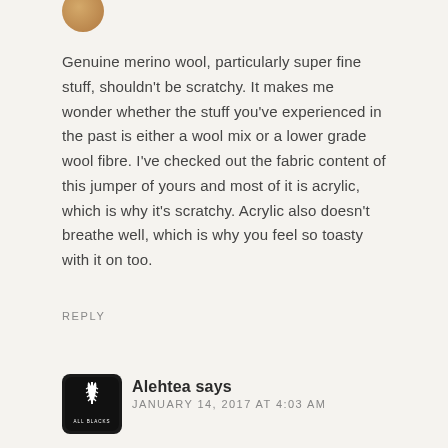[Figure (photo): Partial view of a user avatar (circular profile image, partially cropped at top)]
Genuine merino wool, particularly super fine stuff, shouldn't be scratchy. It makes me wonder whether the stuff you've experienced in the past is either a wool mix or a lower grade wool fibre. I've checked out the fabric content of this jumper of yours and most of it is acrylic, which is why it's scratchy. Acrylic also doesn't breathe well, which is why you feel so toasty with it on too.
REPLY
[Figure (logo): All Blacks logo on dark rounded square background]
Alehtea says
JANUARY 14, 2017 AT 4:03 AM